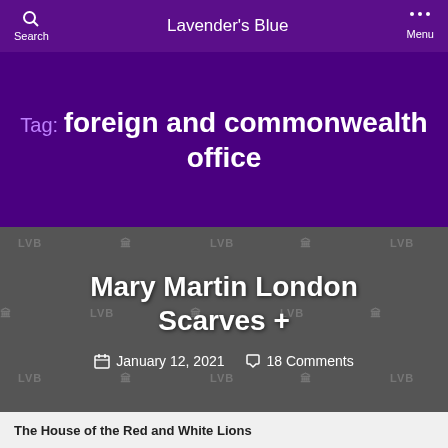Lavender's Blue — Search | Menu
Tag: foreign and commonwealth office
Mary Martin London Scarves +
January 12, 2021  18 Comments
The House of the Red and White Lions